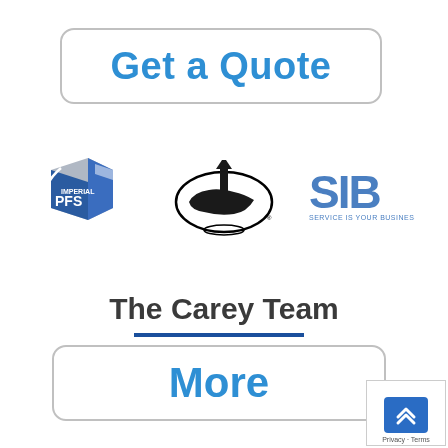Get a Quote
[Figure (logo): Three logos: Imperial PFS (blue box logo), North Carolina state logo (oval with state map and lighthouse), and SIB (Service Is Our Business) logo]
The Carey Team
More
[Figure (logo): Google Maps privacy badge with blue icon showing upward chevrons, Privacy · Terms text below]